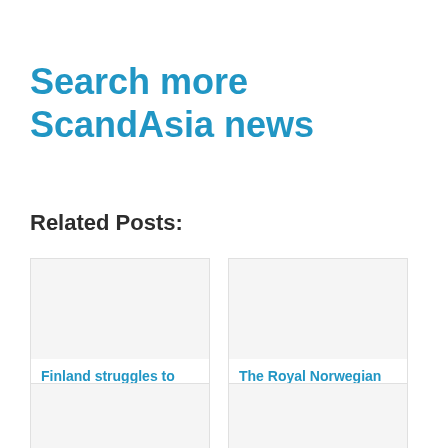Search more ScandAsia news
Related Posts:
Finland struggles to attract
The Royal Norwegian